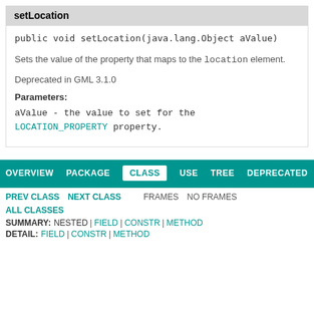setLocation
public void setLocation(java.lang.Object aValue)
Sets the value of the property that maps to the location element.
Deprecated in GML 3.1.0
Parameters:
aValue - the value to set for the LOCATION_PROPERTY property.
OVERVIEW  PACKAGE  CLASS  USE  TREE  DEPRECATED
PREV CLASS  NEXT CLASS  FRAMES  NO FRAMES  ALL CLASSES
SUMMARY: NESTED | FIELD | CONSTR | METHOD  DETAIL: FIELD | CONSTR | METHOD